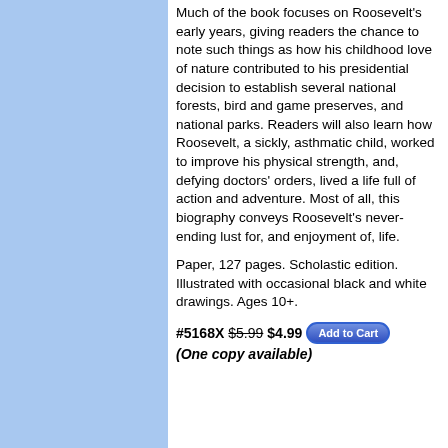Much of the book focuses on Roosevelt's early years, giving readers the chance to note such things as how his childhood love of nature contributed to his presidential decision to establish several national forests, bird and game preserves, and national parks. Readers will also learn how Roosevelt, a sickly, asthmatic child, worked to improve his physical strength, and, defying doctors' orders, lived a life full of action and adventure. Most of all, this biography conveys Roosevelt's never-ending lust for, and enjoyment of, life.
Paper, 127 pages. Scholastic edition. Illustrated with occasional black and white drawings. Ages 10+.
#5168X $5.99 $4.99 Add to Cart (One copy available)